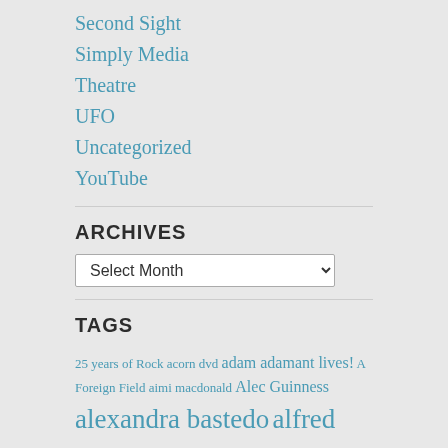Second Sight
Simply Media
Theatre
UFO
Uncategorized
YouTube
ARCHIVES
Select Month
TAGS
25 years of Rock acorn dvd adam adamant lives! A Foreign Field aimi macdonald Alec Guinness alexandra bastedo alfred burke allan prior an age of kings andre morell andrew bicknell andrew burt andrew davies andy rashleigh an englishman's castle angela bruce angela douglas angels anneke wills ann lynn anouska hempel anthony bate anthony newley anthony perkins anthony valentine anton rodgers an